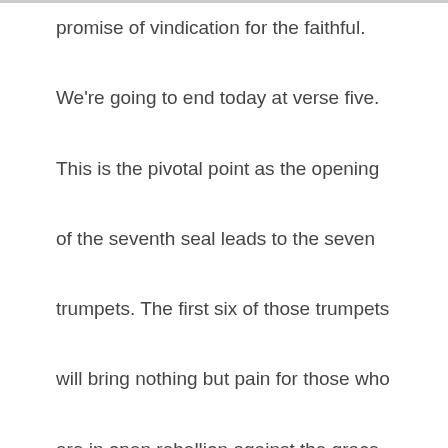promise of vindication for the faithful. We're going to end today at verse five. This is the pivotal point as the opening of the seventh seal leads to the seven trumpets. The first six of those trumpets will bring nothing but pain for those who are in open rebellion against the grace and mercy of God. These will not be good things. But if you're sealed with the mark as a chosen one of God, the only trumpet that will matter is the